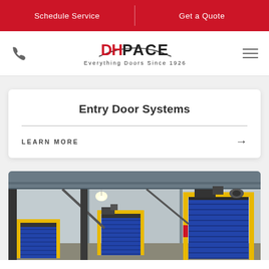Schedule Service | Get a Quote
[Figure (logo): DH Pace logo with tagline 'Everything Doors Since 1926']
Entry Door Systems
LEARN MORE →
[Figure (photo): Industrial warehouse interior showing high-speed roll-up doors with yellow safety frames and blue door panels]